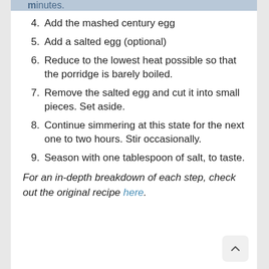minutes.
4. Add the mashed century egg
5. Add a salted egg (optional)
6. Reduce to the lowest heat possible so that the porridge is barely boiled.
7. Remove the salted egg and cut it into small pieces. Set aside.
8. Continue simmering at this state for the next one to two hours. Stir occasionally.
9. Season with one tablespoon of salt, to taste.
For an in-depth breakdown of each step, check out the original recipe here.